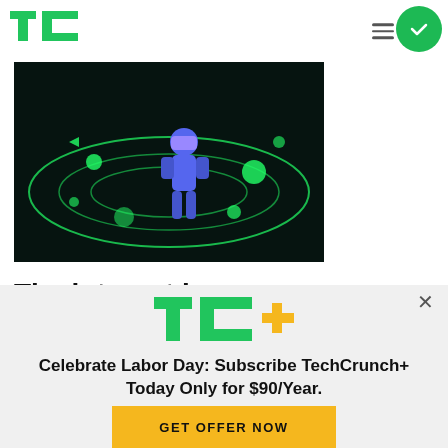TC logo, hamburger menu, checkmark button
[Figure (illustration): 3D animated figure wearing VR headset floating in space surrounded by glowing green orbital rings, circles, and digital icons on a dark background]
The internet is
[Figure (logo): TechCrunch+ logo in green with a yellow plus sign]
Celebrate Labor Day: Subscribe TechCrunch+ Today Only for $90/Year.
GET OFFER NOW